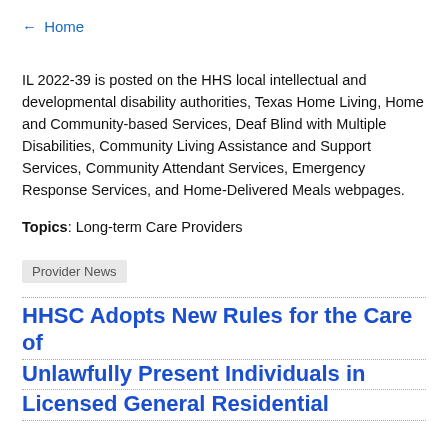← Home
IL 2022-39 is posted on the HHS local intellectual and developmental disability authorities, Texas Home Living, Home and Community-based Services, Deaf Blind with Multiple Disabilities, Community Living Assistance and Support Services, Community Attendant Services, Emergency Response Services, and Home-Delivered Meals webpages. Topics: Long-term Care Providers
Provider News
HHSC Adopts New Rules for the Care of Unlawfully Present Individuals in Licensed General Residential